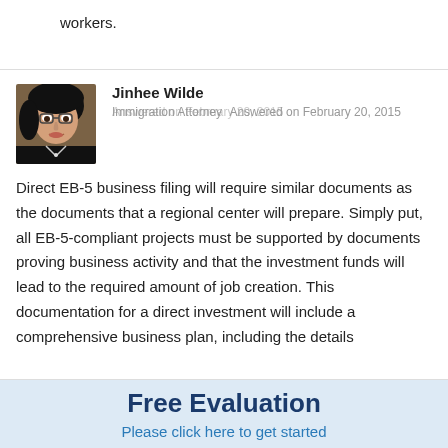workers.
[Figure (photo): Headshot photo of Jinhee Wilde, an immigration attorney with glasses and dark hair]
Jinhee Wilde
Immigration Attorney
Answered on February 20, 2015
Direct EB-5 business filing will require similar documents as the documents that a regional center will prepare. Simply put, all EB-5-compliant projects must be supported by documents proving business activity and that the investment funds will lead to the required amount of job creation. This documentation for a direct investment will include a comprehensive business plan, including the details
Free Evaluation
Please click here to get started